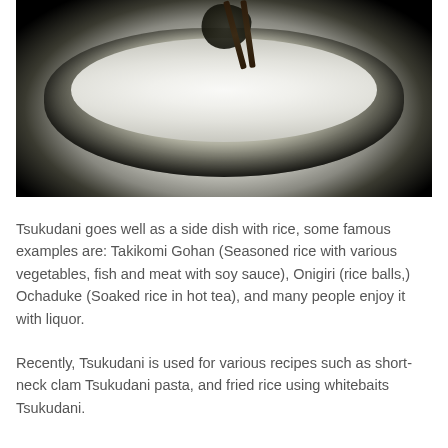[Figure (photo): A bowl of white rice with dark seaweed tsukudani being held by chopsticks above the rice, against a black background.]
Tsukudani goes well as a side dish with rice, some famous examples are: Takikomi Gohan (Seasoned rice with various vegetables, fish and meat with soy sauce), Onigiri (rice balls,) Ochaduke (Soaked rice in hot tea), and many people enjoy it with liquor.
Recently, Tsukudani is used for various recipes such as short-neck clam Tsukudani pasta, and fried rice using whitebaits Tsukudani.